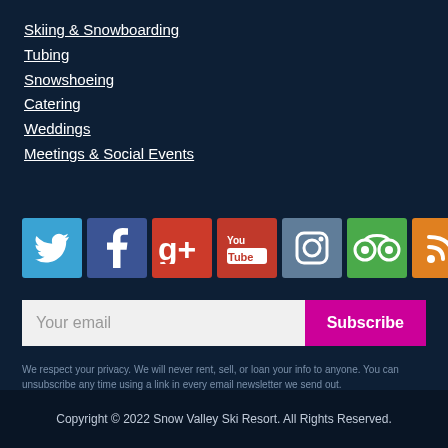Skiing & Snowboarding
Tubing
Snowshoeing
Catering
Weddings
Meetings & Social Events
[Figure (other): Social media icons: Twitter, Facebook, Google+, YouTube, Instagram, TripAdvisor, RSS]
Your email
Subscribe
We respect your privacy. We will never rent, sell, or loan your info to anyone. You can unsubscribe any time using a link in every email newsletter we send out.
Copyright © 2022 Snow Valley Ski Resort. All Rights Reserved.